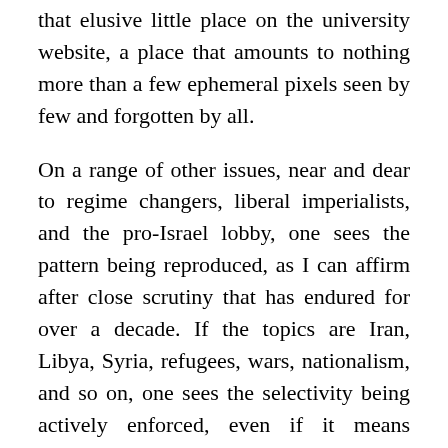that elusive little place on the university website, a place that amounts to nothing more than a few ephemeral pixels seen by few and forgotten by all.
On a range of other issues, near and dear to regime changers, liberal imperialists, and the pro-Israel lobby, one sees the pattern being reproduced, as I can affirm after close scrutiny that has endured for over a decade. If the topics are Iran, Libya, Syria, refugees, wars, nationalism, and so on, one sees the selectivity being actively enforced, even if it means publishing, praising and promoting the same two or three professors time after